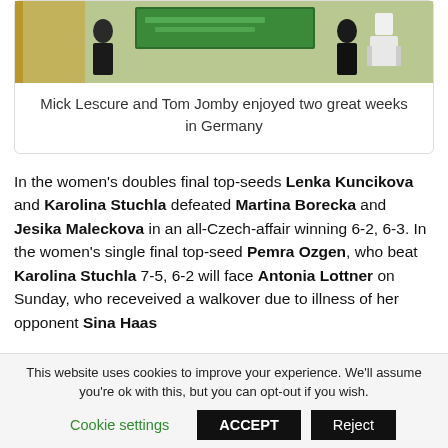[Figure (photo): Two people standing in front of a green tournament sign board at a tennis event in Germany]
Mick Lescure and Tom Jomby enjoyed two great weeks in Germany
In the women's doubles final top-seeds Lenka Kuncikova and Karolina Stuchla defeated Martina Borecka and Jesika Maleckova in an all-Czech-affair winning 6-2, 6-3. In the women's single final top-seed Pemra Ozgen, who beat Karolina Stuchla 7-5, 6-2 will face Antonia Lottner on Sunday, who receveived a walkover due to illness of her opponent Sina Haas
This website uses cookies to improve your experience. We'll assume you're ok with this, but you can opt-out if you wish.
Cookie settings   ACCEPT   Reject